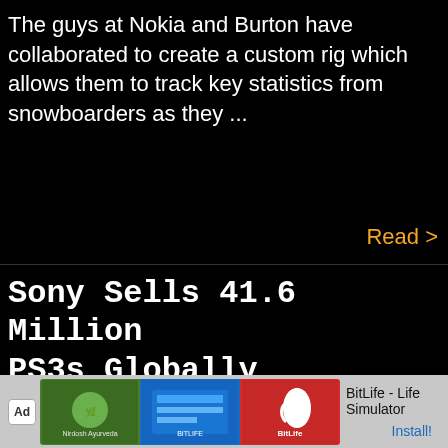The guys at Nokia and Burton have collaborated to create a custom rig which allows them to track key statistics from snowboarders as they ...
Read >
Sony Sells 41.6 Million PS3s Globally
[Figure (infographic): Advertisement banner for BitLife - Life Simulator app with Ad badge, app screenshots, app name and Install button]